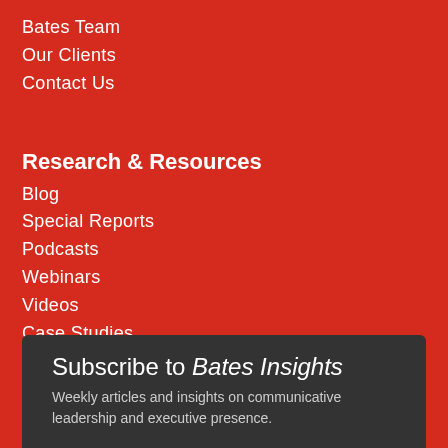Bates Team
Our Clients
Contact Us
Research & Resources
Blog
Special Reports
Podcasts
Webinars
Videos
Case Studies
Contributors
Subscribe to Bates Insights
Weekly articles and insights on communicative leadership and executive presence.